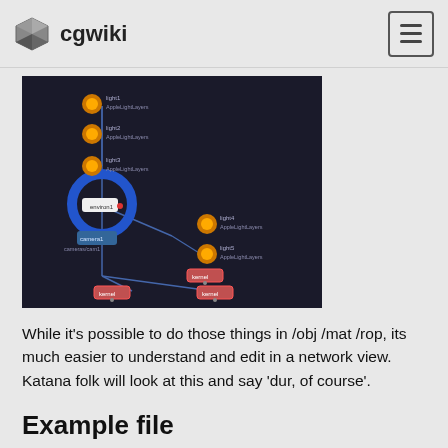cgwiki
[Figure (screenshot): A dark-themed node graph network view showing a Houdini scene network with orange light nodes, blue camera/environment nodes connected by wires, labeled with AppleLightLayers and kernel nodes.]
While it's possible to do those things in /obj /mat /rop, its much easier to understand and edit in a network view. Katana folk will look at this and say 'dur, of course'.
Example file
Here's a hip with some rbd, ground, volume, lights camera